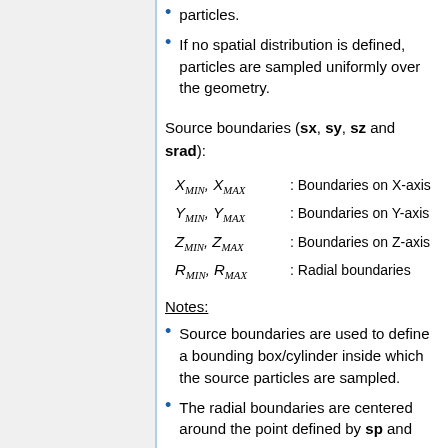particles.
If no spatial distribution is defined, particles are sampled uniformly over the geometry.
Source boundaries (sx, sy, sz and srad):
Notes:
Source boundaries are used to define a bounding box/cylinder inside which the source particles are sampled.
The radial boundaries are centered around the point defined by sp and